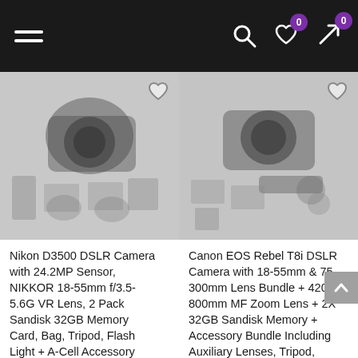Navigation bar with hamburger menu, search, wishlist (0), and cart (0) icons
[Figure (photo): Nikon D3500 DSLR camera kit with accessories including lenses, memory cards, tripod, flash, and bag laid out on white background]
Nikon D3500 DSLR Camera with 24.2MP Sensor, NIKKOR 18-55mm f/3.5-5.6G VR Lens, 2 Pack Sandisk 32GB Memory Card, Bag, Tripod, Flash Light + A-Cell Accessory Bundle (32GB)
[Figure (photo): Canon EOS Rebel T8i DSLR camera kit with 18-55mm and 75-300mm lenses, 420-800mm MF zoom lens, memory cards, and accessories laid out on white background]
Canon EOS Rebel T8i DSLR Camera with 18-55mm & 75-300mm Lens Bundle + 420-800mm MF Zoom Lens + 2X 32GB Sandisk Memory + Accessory Bundle Including Auxiliary Lenses, Tripod,